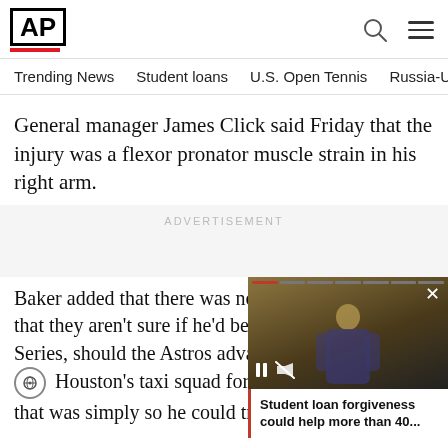[Figure (logo): AP (Associated Press) logo in black box with red underbar]
Trending News   Student loans   U.S. Open Tennis   Russia-Ukrai
General manager James Click said Friday that the injury was a flexor pronator muscle strain in his right arm.
ADVERTISEMENT
Baker added that there was no stru... that they aren't sure if he'd be avai... Series, should the Astros advance. Houston's taxi squad for th... that was simply so he could travel...
[Figure (screenshot): Video overlay showing a person speaking at a podium with Student loan forgiveness caption]